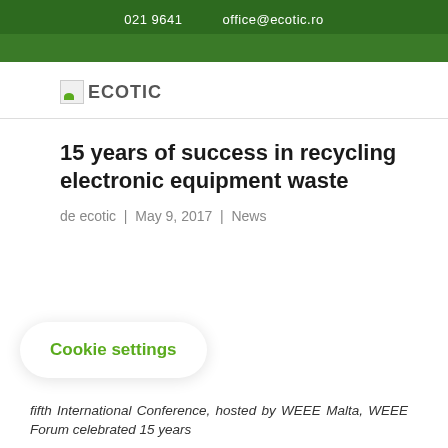021 9641   office@ecotic.ro
[Figure (logo): ECOTIC logo with green leaf graphic]
15 years of success in recycling electronic equipment waste
de ecotic | May 9, 2017 | News
Cookie settings
fifth International Conference, hosted by WEEE Malta, WEEE Forum celebrated 15 years